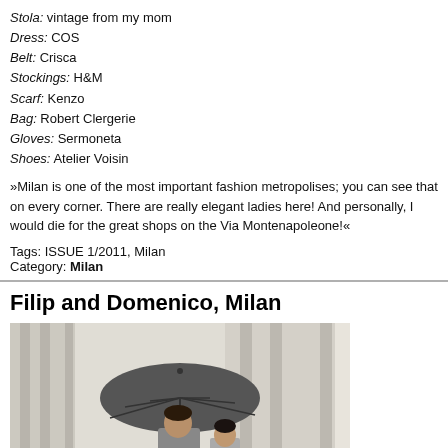Stola: vintage from my mom
Dress: COS
Belt: Crisca
Stockings: H&M
Scarf: Kenzo
Bag: Robert Clergerie
Gloves: Sermoneta
Shoes: Atelier Voisin
»Milan is one of the most important fashion metropolises; you can see that on every corner. There are really elegant ladies here! And personally, I would die for the great shops on the Via Montenapoleone!«
Tags: ISSUE 1/2011, Milan
Category: Milan
Filip and Domenico, Milan
[Figure (photo): Two men standing near stone columns, one holding a grey umbrella, photographed in Milan.]